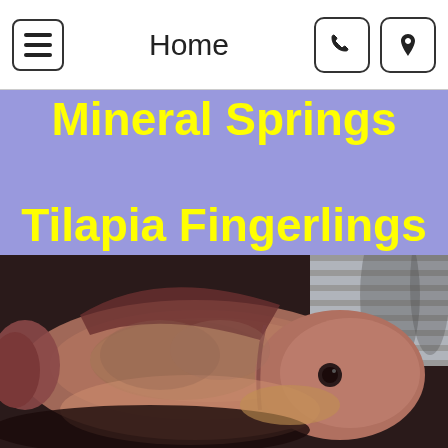Home
Mineral Springs Tilapia Fingerlings
[Figure (photo): Close-up photograph of a tilapia fish with reddish-pink and brownish scales, viewed from the side, with window blinds visible in the background.]